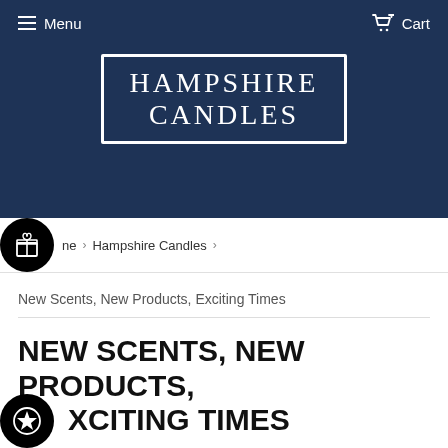Menu  Cart
[Figure (logo): Hampshire Candles logo — white serif text in a white-bordered rectangle on dark navy background]
Home > Hampshire Candles >
New Scents, New Products, Exciting Times
NEW SCENTS, NEW PRODUCTS, EXCITING TIMES